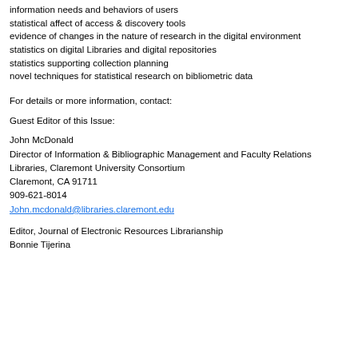information needs and behaviors of users
statistical affect of access & discovery tools
evidence of changes in the nature of research in the digital environment
statistics on digital Libraries and digital repositories
statistics supporting collection planning
novel techniques for statistical research on bibliometric data
For details or more information, contact:
Guest Editor of this Issue:
John McDonald
Director of Information & Bibliographic Management and Faculty Relations
Libraries, Claremont University Consortium
Claremont, CA 91711
909-621-8014
John.mcdonald@libraries.claremont.edu
Editor, Journal of Electronic Resources Librarianship
Bonnie Tijerina